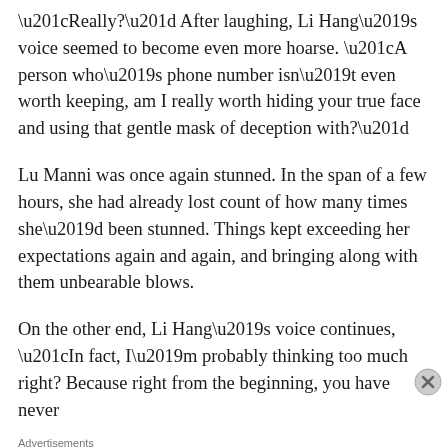“Really?” After laughing, Li Hang’s voice seemed to become even more hoarse. “A person who’s phone number isn’t even worth keeping, am I really worth hiding your true face and using that gentle mask of deception with?”
Lu Manni was once again stunned. In the span of a few hours, she had already lost count of how many times she’d been stunned. Things kept exceeding her expectations again and again, and bringing along with them unbearable blows.
On the other end, Li Hang’s voice continues, “In fact, I’m probably thinking too much right? Because right from the beginning, you have never
Advertisements
[Figure (other): DuckDuckGo advertisement banner: orange left section with text 'Search, browse, and email with more privacy.' and 'All in One Free App' button; dark right section with DuckDuckGo duck logo and brand name.]